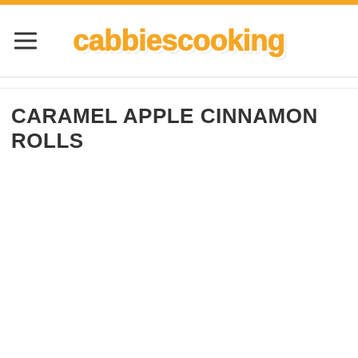cabbiescooking
CARAMEL APPLE CINNAMON ROLLS